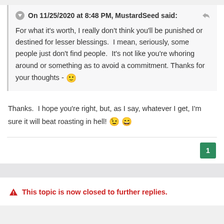On 11/25/2020 at 8:48 PM, MustardSeed said:
For what it's worth, I really don't think you'll be punished or destined for lesser blessings.  I mean, seriously, some people just don't find people.  It's not like you're whoring around or something as to avoid a commitment. Thanks for your thoughts - 🙂
Thanks.  I hope you're right, but, as I say, whatever I get, I'm sure it will beat roasting in hell! 😉 😄
1
⚠ This topic is now closed to further replies.